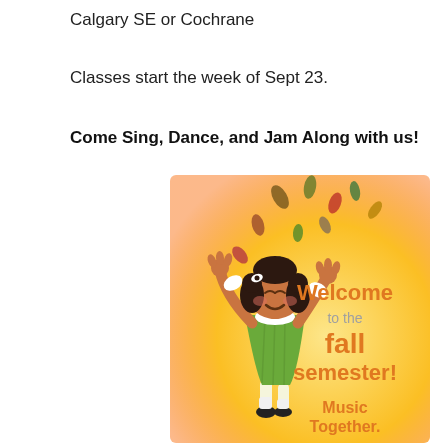Calgary SE or Cochrane
Classes start the week of Sept 23.
Come Sing, Dance, and Jam Along with us!
[Figure (illustration): Music Together fall semester welcome illustration showing a cartoon girl in a green dress dancing with autumn leaves falling around her, with text 'Welcome to the fall semester! Music Together.']